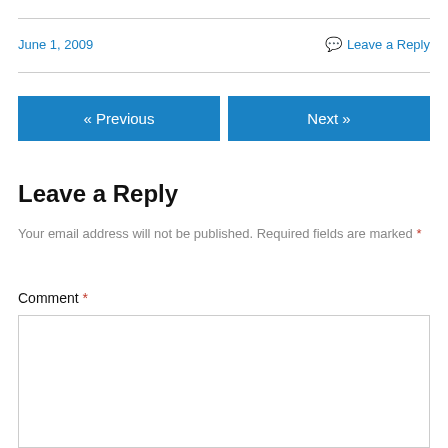June 1, 2009
Leave a Reply
« Previous
Next »
Leave a Reply
Your email address will not be published. Required fields are marked *
Comment *